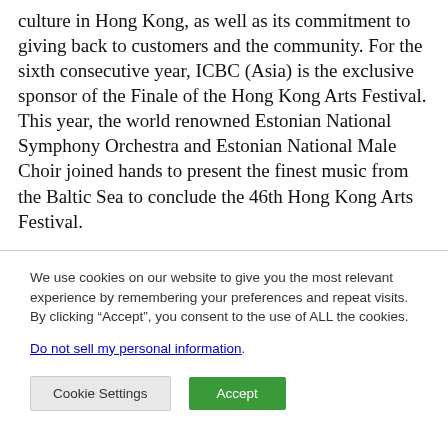culture in Hong Kong, as well as its commitment to giving back to customers and the community. For the sixth consecutive year, ICBC (Asia) is the exclusive sponsor of the Finale of the Hong Kong Arts Festival. This year, the world renowned Estonian National Symphony Orchestra and Estonian National Male Choir joined hands to present the finest music from the Baltic Sea to conclude the 46th Hong Kong Arts Festival.
We use cookies on our website to give you the most relevant experience by remembering your preferences and repeat visits. By clicking “Accept”, you consent to the use of ALL the cookies.
Do not sell my personal information.